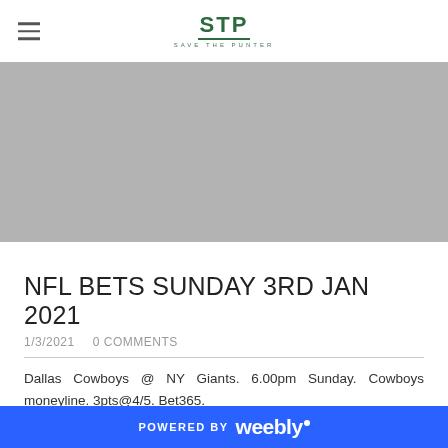STP SAVE THE PUNTER
[Figure (photo): Gray banner image placeholder]
NFL BETS SUNDAY 3RD JAN 2021
1/3/2021   0 COMMENTS
Dallas Cowboys @ NY Giants. 6.00pm Sunday. Cowboys moneyline. 3pts@4/5. Bet365.
Dallas have finally started to get things together the past
POWERED BY weebly